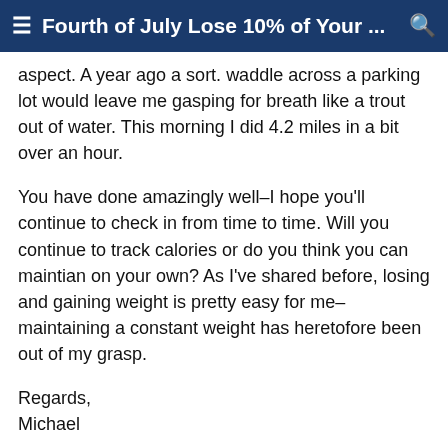≡ Fourth of July Lose 10% of Your ... 🔍
aspect. A year ago a sort. waddle across a parking lot would leave me gasping for breath like a trout out of water. This morning I did 4.2 miles in a bit over an hour.
You have done amazingly well–I hope you'll continue to check in from time to time. Will you continue to track calories or do you think you can maintian on your own? As I've shared before, losing and gaining weight is pretty easy for me–maintaining a constant weight has heretofore been out of my grasp.
Regards,
Michael
❝ Reply
Kumochi , 06-13-2011 04:29 PM
FitDay Member
#156